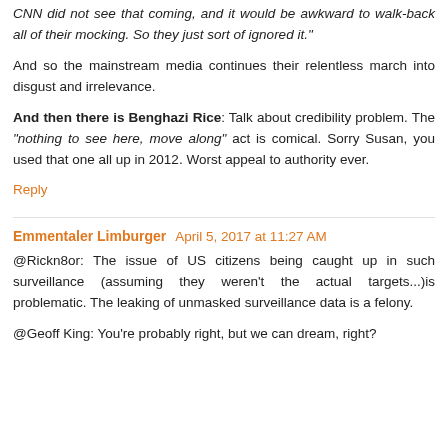CNN did not see that coming, and it would be awkward to walk-back all of their mocking. So they just sort of ignored it."
And so the mainstream media continues their relentless march into disgust and irrelevance.
And then there is Benghazi Rice: Talk about credibility problem. The "nothing to see here, move along" act is comical. Sorry Susan, you used that one all up in 2012. Worst appeal to authority ever.
Reply
Emmentaler Limburger  April 5, 2017 at 11:27 AM
@Rickn8or: The issue of US citizens being caught up in such surveillance (assuming they weren't the actual targets...)is problematic. The leaking of unmasked surveillance data is a felony.
@Geoff King: You're probably right, but we can dream, right?